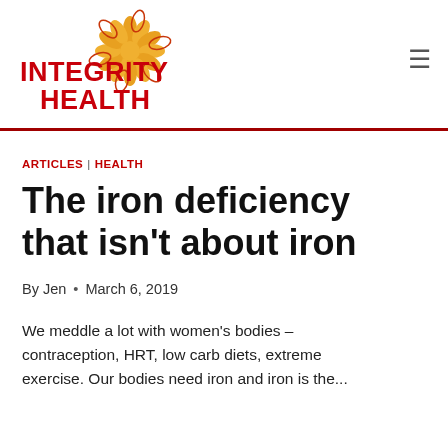[Figure (logo): Integrity Health logo with stylized orange/red flower and red bold text reading INTEGRITY HEALTH]
ARTICLES | HEALTH
The iron deficiency that isn't about iron
By Jen • March 6, 2019
We meddle a lot with women's bodies – contraception, HRT, low carb diets, extreme exercise. Our bodies need iron and iron is the...